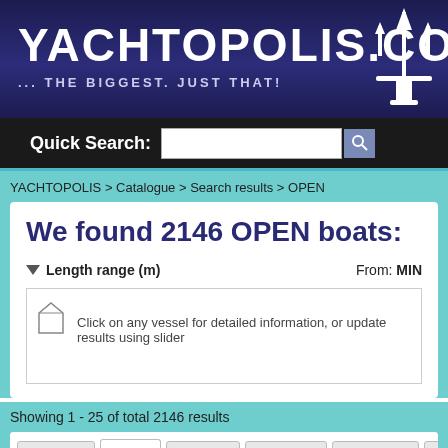YACHTOPOLIS.COM ... THE BIGGEST. JUST THAT!
Quick Search:
YACHTOPOLIS > Catalogue > Search results > OPEN
We found 2146 OPEN boats:
Length range (m)   From: MIN
Click on any vessel for detailed information, or update results using slider
Showing 1 - 25 of total 2146 results
All boats   Open   Hardtop   Flybridge   Fisherman   P
7 Mari F 27 Open America